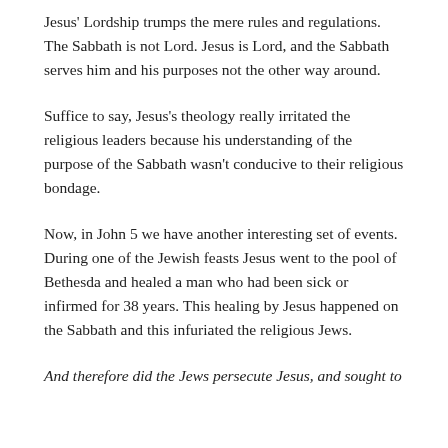Jesus' Lordship trumps the mere rules and regulations. The Sabbath is not Lord. Jesus is Lord, and the Sabbath serves him and his purposes not the other way around.
Suffice to say, Jesus's theology really irritated the religious leaders because his understanding of the purpose of the Sabbath wasn't conducive to their religious bondage.
Now, in John 5 we have another interesting set of events. During one of the Jewish feasts Jesus went to the pool of Bethesda and healed a man who had been sick or infirmed for 38 years. This healing by Jesus happened on the Sabbath and this infuriated the religious Jews.
And therefore did the Jews persecute Jesus, and sought to